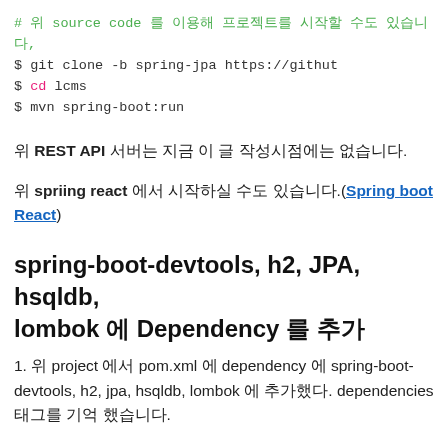# 위 source code 를 이용해 프로젝트를 시작할 수도 있습니다,
$ git clone -b spring-jpa https://github
$ cd lcms
$ mvn spring-boot:run
위 REST API 서버는 지금 이 글 작성시점에는 없습니다.
위 spriing react 에서 시작하실 수도 있습니다.(Spring boot React)
spring-boot-devtools, h2, JPA, hsqldb, lombok 에 Dependency 를 추가
1. 위 project 에서 pom.xml 에 dependency 에 spring-boot-devtools, h2, jpa, hsqldb, lombok 을 추가했다. dependencies 태그를 기억 했습니다.
<dependency>